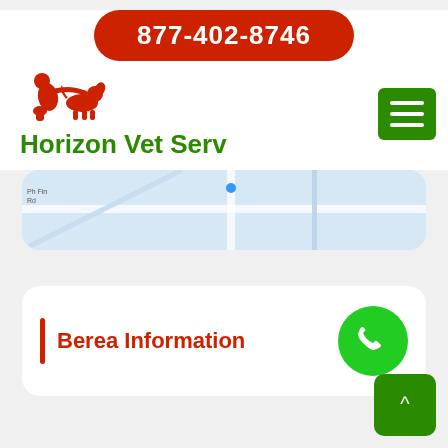877-402-8746
Horizon Vet Serv
[Figure (map): Street map snippet showing roads and a location marker]
Berea Information
[Figure (other): Green phone call button circle icon]
[Figure (other): Green back-to-top arrow button in bottom right corner]